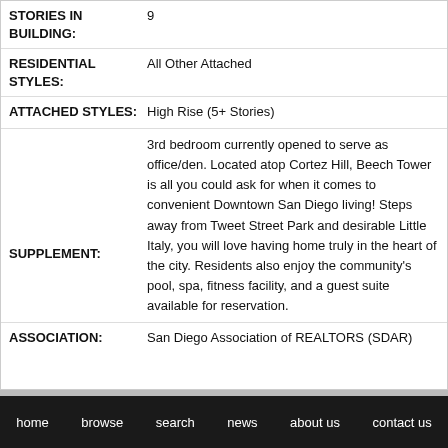| Field | Value |
| --- | --- |
| STORIES IN BUILDING: | 9 |
| RESIDENTIAL STYLES: | All Other Attached |
| ATTACHED STYLES: | High Rise (5+ Stories) |
| SUPPLEMENT: | 3rd bedroom currently opened to serve as office/den. Located atop Cortez Hill, Beech Tower is all you could ask for when it comes to convenient Downtown San Diego living! Steps away from Tweet Street Park and desirable Little Italy, you will love having home truly in the heart of the city. Residents also enjoy the community's pool, spa, fitness facility, and a guest suite available for reservation. |
| ASSOCIATION: | San Diego Association of REALTORS (SDAR) |
home  browse  search  news  about us  contact us